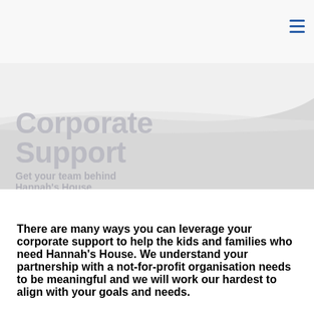[Figure (illustration): Website screenshot header with curved gray/white hero area containing faded decorative text 'Corporate Support' and subtitle 'Get your team behind Hannah's House', with a hamburger menu icon in the top right corner]
Corporate Support
Get your team behind Hannah's House
There are many ways you can leverage your corporate support to help the kids and families who need Hannah's House. We understand your partnership with a not-for-profit organisation needs to be meaningful and we will work our hardest to align with your goals and needs.